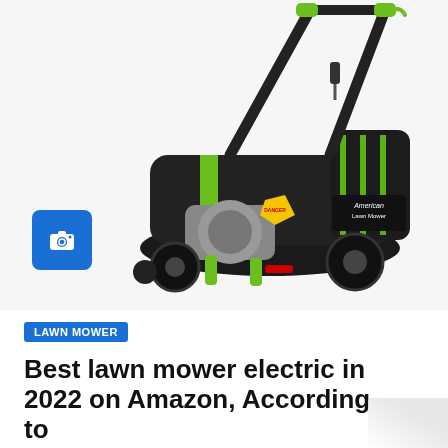[Figure (photo): Electric lawn mower with black and green color scheme, American Lawn Mower brand, with tall handle bars and a grass collection bag, shown on white background. A blue camera icon overlay is visible in the lower-left of the image.]
LAWN MOWER
Best lawn mower electric in 2022 on Amazon, According to